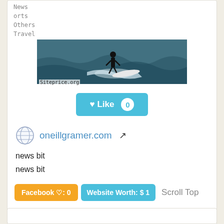News
orts
Others
Travel
[Figure (photo): Person standing at ocean waves holding a surfboard, viewed from behind. Siteprice.org watermark in bottom left.]
♥ Like 0
oneillgramer.com ↗
news bit
news bit
Facebook ♡: 0   Website Worth: $ 1   Scroll Top
Categories: Business, Business
Is it similar?  👍 Yes 0   👎 No 0